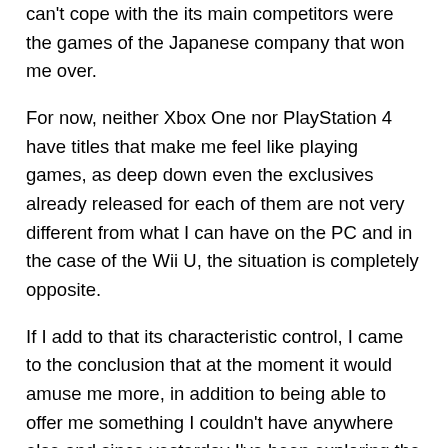can't cope with the its main competitors were the games of the Japanese company that won me over.
For now, neither Xbox One nor PlayStation 4 have titles that make me feel like playing games, as deep down even the exclusives already released for each of them are not very different from what I can have on the PC and in the case of the Wii U, the situation is completely opposite.
If I add to that its characteristic control, I came to the conclusion that at the moment it would amuse me more, in addition to being able to offer me something I couldn't have anywhere else and since yesterday I've been exploring the device, which I confess, left me a great first impression. As I had never played on a Wii U, I was surprised by the size of its joystick, the excellent quality of the image on its screen and, above all, the way in which the sound of the controller helps to increase immersion.